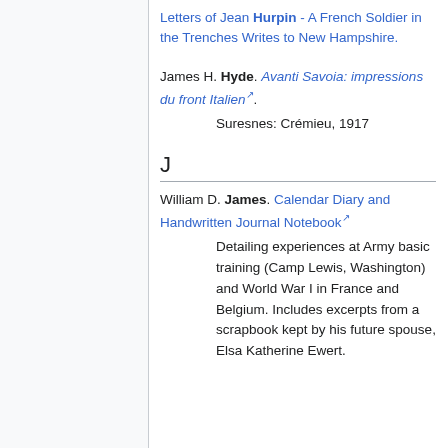Letters of Jean Hurpin - A French Soldier in the Trenches Writes to New Hampshire.
James H. Hyde. Avanti Savoia: impressions du front Italien.
Suresnes: Crémieu, 1917
J
William D. James. Calendar Diary and Handwritten Journal Notebook
Detailing experiences at Army basic training (Camp Lewis, Washington) and World War I in France and Belgium. Includes excerpts from a scrapbook kept by his future spouse, Elsa Katherine Ewert.